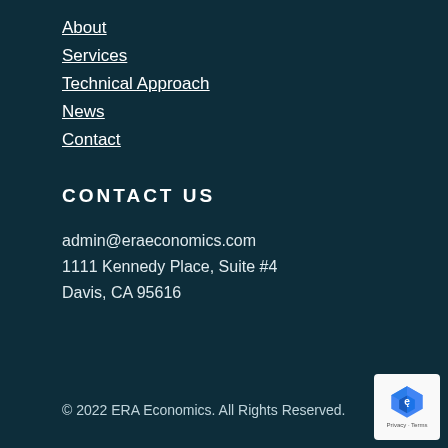About
Services
Technical Approach
News
Contact
CONTACT US
admin@eraeconomics.com
1111 Kennedy Place, Suite #4
Davis, CA 95616
© 2022 ERA Economics.  All Rights Reserved.